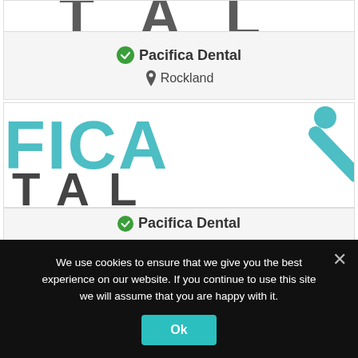[Figure (logo): Partial Pacifica Dental logo showing cropped TAL letters at top]
✔ Pacifica Dental
📍 Rockland
[Figure (logo): Pacifica Dental logo showing FICA and TAL letters in teal and dark grey]
✔ Pacifica Dental
We use cookies to ensure that we give you the best experience on our website. If you continue to use this site we will assume that you are happy with it.